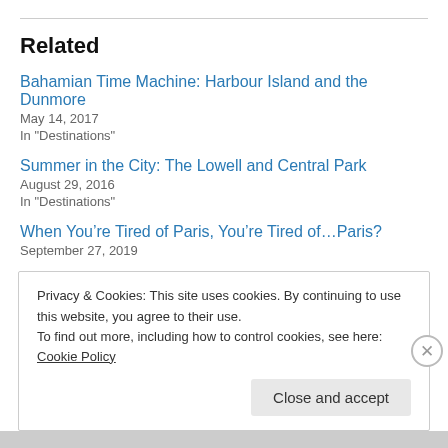Related
Bahamian Time Machine: Harbour Island and the Dunmore
May 14, 2017
In "Destinations"
Summer in the City: The Lowell and Central Park
August 29, 2016
In "Destinations"
When You’re Tired of Paris, You’re Tired of…Paris?
September 27, 2019
Privacy & Cookies: This site uses cookies. By continuing to use this website, you agree to their use.
To find out more, including how to control cookies, see here: Cookie Policy
Close and accept